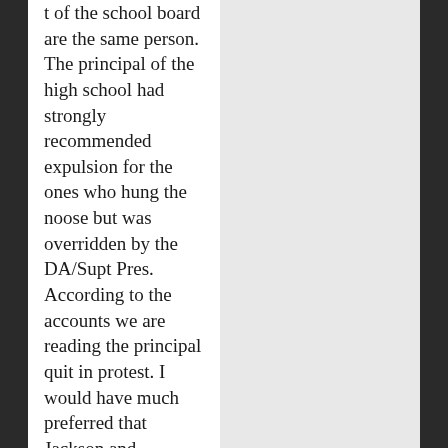t of the school board are the same person. The principal of the high school had strongly recommended expulsion for the ones who hung the noose but was overridden by the DA/Supt Pres. According to the accounts we are reading the principal quit in protest. I would have much preferred that Jackson and